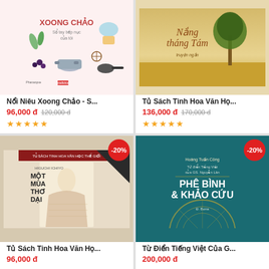[Figure (illustration): Book cover: Nổi Niêu Xoong Chảo - Sổ tay bếp nuc của tôi, colorful cooking-themed illustration with kitchen items, cupcake, spices on pink background]
Nổi Niêu Xoong Chảo - S...
96,000 đ  120,000 đ
★★★★★
[Figure (illustration): Book cover: Tủ Sách Tinh Hoa Văn Họ... - Nắng tháng Tám, golden field with tree, warm sunset tones]
Tủ Sách Tinh Hoa Văn Họ...
136,000 đ  170,000 đ
★★★★★
[Figure (illustration): Book cover with -20% badge: Tủ Sách Tinh Hoa Văn Họ... - Higuchi Ichiyo Một Mùa Thơ Dại, Japanese woodblock print style illustration]
Tủ Sách Tinh Hoa Văn Họ...
96,000 đ
[Figure (illustration): Book cover with -20% badge: Từ Điển Tiếng Việt Của G... - Hoàng Tuấn Công, Từ điển Tiếng Việt của GS. Nguyễn Lân - Phê Bình Khảo Cứu, teal/dark blue cover]
Từ Điển Tiếng Việt Của G...
200,000 đ